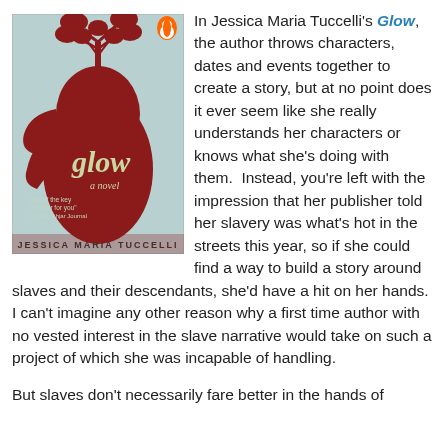[Figure (illustration): Book cover of 'Glow' by Jessica Maria Tuccelli — dark red silhouette of a figure with a tree growing from their head on a pale blue background, with a Penguin Books logo at top right and author name at bottom.]
In Jessica Maria Tuccelli's Glow, the author throws characters, dates and events together to create a story, but at no point does it ever seem like she really understands her characters or knows what she's doing with them.  Instead, you're left with the impression that her publisher told her slavery was what's hot in the streets this year, so if she could find a way to build a story around slaves and their descendants, she'd have a hit on her hands.  I can't imagine any other reason why a first time author with no vested interest in the slave narrative would take on such a project of which she was incapable of handling.
But slaves don't necessarily fare better in the hands of